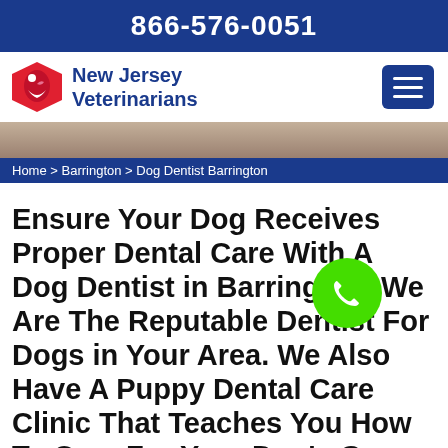866-576-0051
[Figure (logo): New Jersey Veterinarians logo with red shield and animal silhouette, blue text reading New Jersey Veterinarians]
[Figure (photo): Partial hero image of a dog being examined]
Home > Barrington > Dog Dentist Barrington
Ensure Your Dog Receives Proper Dental Care With A Dog Dentist in Barrington. We Are The Reputable Dentist For Dogs in Your Area. We Also Have A Puppy Dental Care Clinic That Teaches You How To Care For Your Dog's Gums And Teeth at Home.
All dogs will experience some level of Dental Sickness